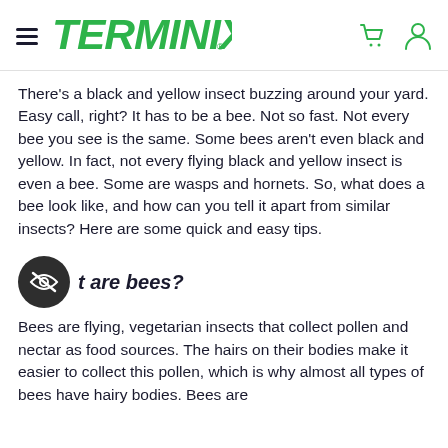TERMINIX
There's a black and yellow insect buzzing around your yard. Easy call, right? It has to be a bee. Not so fast. Not every bee you see is the same. Some bees aren't even black and yellow. In fact, not every flying black and yellow insect is even a bee. Some are wasps and hornets. So, what does a bee look like, and how can you tell it apart from similar insects? Here are some quick and easy tips.
What are bees?
Bees are flying, vegetarian insects that collect pollen and nectar as food sources. The hairs on their bodies make it easier to collect this pollen, which is why almost all types of bees have hairy bodies. Bees are